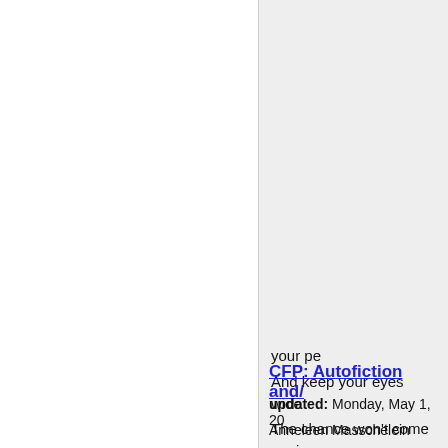done is that which shall be do
-Ecclesiastes 1:9
A revolution is not a dinner-pa
-Mao Zedong
We are causing the reversal o
-James Hart, Eugenic Manifes
Come writers and critics
Who prophesize with your pe
And keep your eyes wide
The chance won't come again
-Bob Dylan, 'The Times They A
CFP: Autofiction and/
updated: Monday, May 1, 20
Anneleen Masschelein